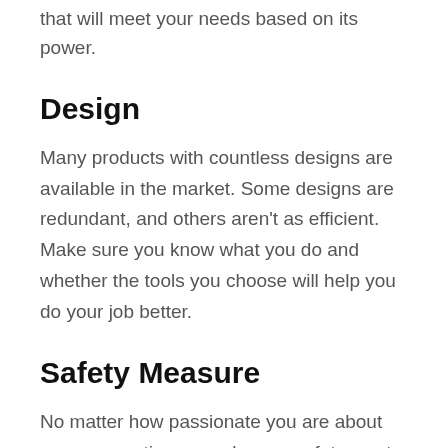that will meet your needs based on its power.
Design
Many products with countless designs are available in the market. Some designs are redundant, and others aren't as efficient. Make sure you know what you do and whether the tools you choose will help you do your job better.
Safety Measure
No matter how passionate you are about your occupation or work, your safety must always be a top priority. Since you'll be using And Least Expensive Flea And Tick For Cats make sure it has all the features that ensure the safety of the